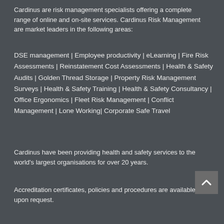Cardinus are risk management specialists offering a complete range of online and on-site services. Cardinus Risk Management are market leaders in the following areas:
DSE management | Employee productivity | eLearning | Fire Risk Assessments | Reinstatement Cost Assessments | Health & Safety Audits | Golden Thread Storage | Property Risk Management Surveys | Health & Safety Training | Health & Safety Consultancy | Office Ergonomics | Fleet Risk Management | Conflict Management | Lone Working| Corporate Safe Travel
Cardinus have been providing health and safety services to the world's largest organisations for over 20 years.
Accreditation certificates, policies and procedures are available upon request.